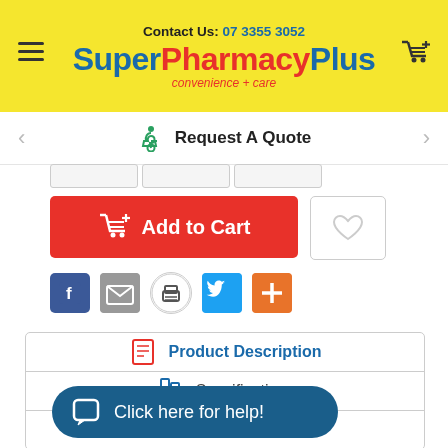Contact Us: 07 3355 3052 | SuperPharmacyPlus convenience + care
Request A Quote
Add to Cart
[Figure (screenshot): Social sharing icons: Facebook, Email, Print, Twitter, Plus]
Product Description
Specifications
Reviews
Click here for help!